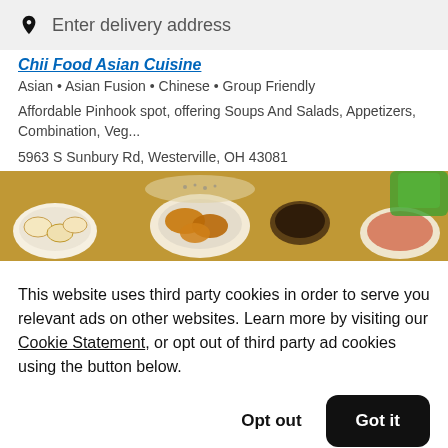Enter delivery address
Chii Food Asian Cuisine
Asian • Asian Fusion • Chinese • Group Friendly
Affordable Pinhook spot, offering Soups And Salads, Appetizers, Combination, Veg...
5963 S Sunbury Rd, Westerville, OH 43081
[Figure (photo): Overhead photo of Asian food dishes including dumplings, fried chicken pieces, and dipping sauces in white bowls on a wooden table.]
This website uses third party cookies in order to serve you relevant ads on other websites. Learn more by visiting our Cookie Statement, or opt out of third party ad cookies using the button below.
Opt out
Got it